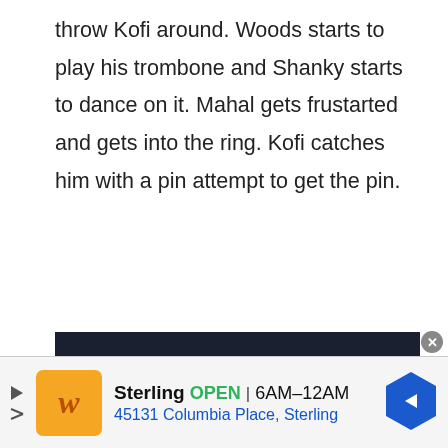throw Kofi around. Woods starts to play his trombone and Shanky starts to dance on it. Mahal gets frustarted and gets into the ring. Kofi catches him with a pin attempt to get the pin.
Winner – New Day
Drew McIntyre makes his entrance before the break. Sheamus tells Ridge Holland and Butch
[Figure (other): Advertisement banner for Wegmans Sterling store with logo, OPEN status, hours 6AM-12AM, and address 45131 Columbia Place, Sterling]